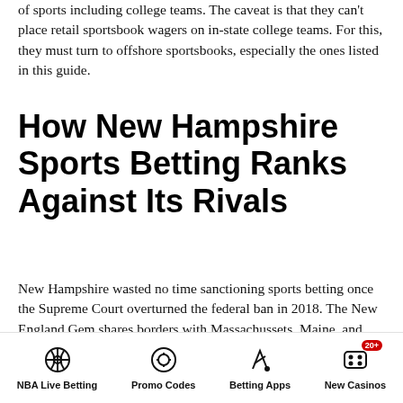of sports including college teams. The caveat is that they can't place retail sportsbook wagers on in-state college teams. For this, they must turn to offshore sportsbooks, especially the ones listed in this guide.
How New Hampshire Sports Betting Ranks Against Its Rivals
New Hampshire wasted no time sanctioning sports betting once the Supreme Court overturned the federal ban in 2018. The New England Gem shares borders with Massachussets, Maine, and Vermont. Unfortunately Massachusetts sportsbooks in the state are still
NBA Live Betting | Promo Codes | Betting Apps | New Casinos 20+